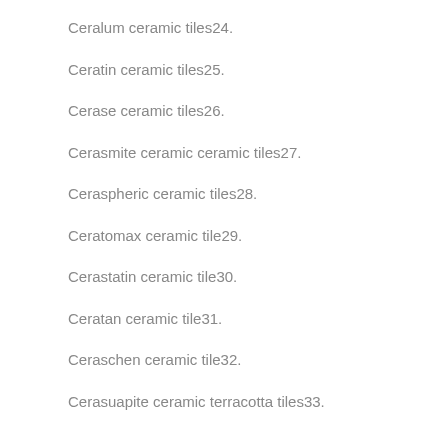Ceralum ceramic tiles24.
Ceratin ceramic tiles25.
Cerase ceramic tiles26.
Cerasmite ceramic ceramic tiles27.
Ceraspheric ceramic tiles28.
Ceratomax ceramic tile29.
Cerastatin ceramic tile30.
Ceratan ceramic tile31.
Ceraschen ceramic tile32.
Cerasuapite ceramic terracotta tiles33.